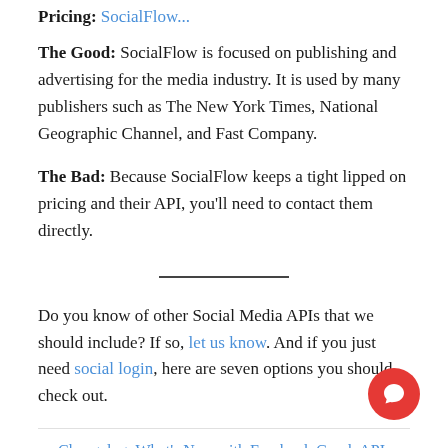Pricing: SocialFlow...
The Good: SocialFlow is focused on publishing and advertising for the media industry. It is used by many publishers such as The New York Times, National Geographic Channel, and Fast Company.
The Bad: Because SocialFlow keeps a tight lipped on pricing and their API, you’ll need to contact them directly.
Do you know of other Social Media APIs that we should include? If so, let us know. And if you just need social login, here are seven options you should check out.
← Changelog: What’s New with Facebook Graph API and Marketing API Version 13.0
Press Release: Ayrshare Announces 100 million API Calls as